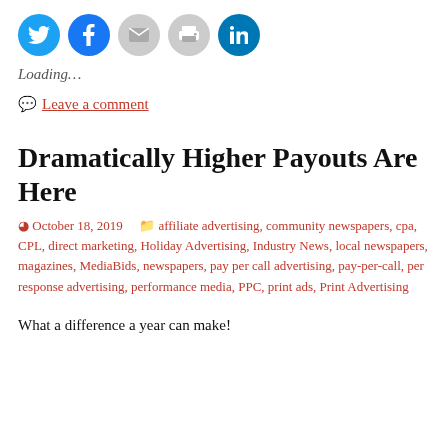[Figure (other): Social media share icons: Twitter (blue), Facebook (blue), Email (grey), Print (grey), LinkedIn (blue teal)]
Loading…
💬 Leave a comment
Dramatically Higher Payouts Are Here
⏱ October 18, 2019    📁 affiliate advertising, community newspapers, cpa, CPL, direct marketing, Holiday Advertising, Industry News, local newspapers, magazines, MediaBids, newspapers, pay per call advertising, pay-per-call, per response advertising, performance media, PPC, print ads, Print Advertising
What a difference a year can make!